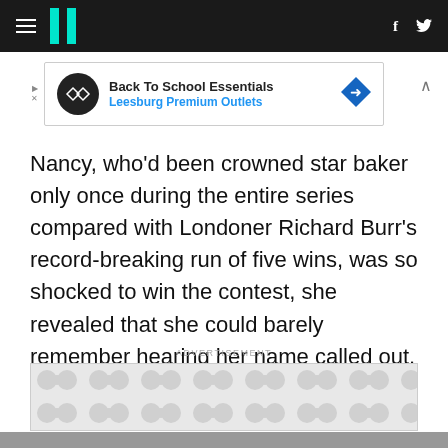HuffPost navigation bar with hamburger menu, logo, facebook and twitter icons
[Figure (other): Advertisement banner for Back To School Essentials – Leesburg Premium Outlets]
Nancy, who'd been crowned star baker only once during the entire series compared with Londoner Richard Burr's record-breaking run of five wins, was so shocked to win the contest, she revealed that she could barely remember hearing her name called out.
ADVERTISEMENT
[Figure (other): Advertisement placeholder with circular pattern background]